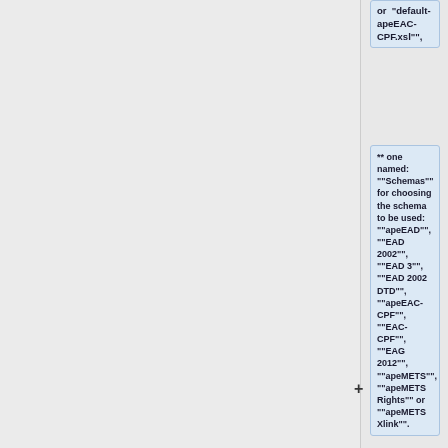or "default-apeEAC-CPF.xsl",
** one named: ""Schemas"" for choosing the schema to be used: ""apeEAD"", ""EAD 2002"", ""EAD 3"", ""EAD 2002 DTD"", ""apeEAC-CPF"", ""EAC-CPF"", ""EAG 2012"", ""apeMETS"", ""apeMETS Rights"" or ""apeMETS Xlink"".